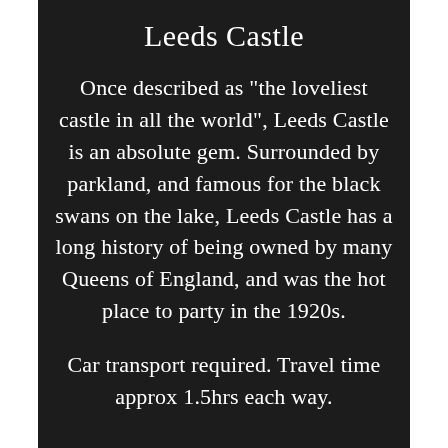Leeds Castle
Once described as "the loveliest castle in all the world", Leeds Castle is an absolute gem. Surrounded by parkland, and famous for the black swans on the lake, Leeds Castle has a long history of being owned by many Queens of England, and was the hot place to party in the 1920s.
Car transport required. Travel time approx 1.5hrs each way.